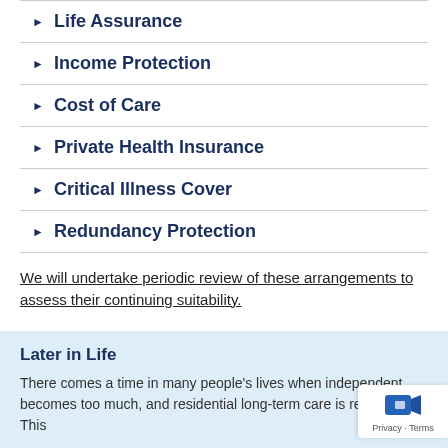Life Assurance
Income Protection
Cost of Care
Private Health Insurance
Critical Illness Cover
Redundancy Protection
We will undertake periodic review of these arrangements to assess their continuing suitability.
Later in Life
There comes a time in many people's lives when independent becomes too much, and residential long-term care is required. This